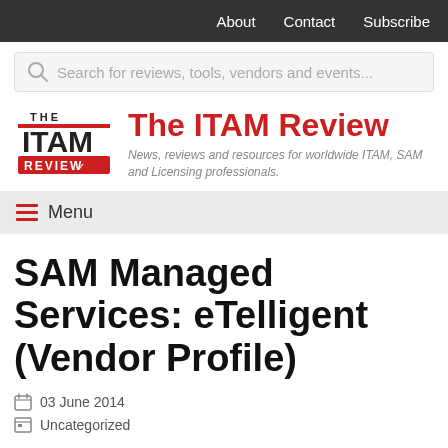About   Contact   Subscribe
Search for reviews, tools, vendors and events...
The ITAM Review
News, reviews and resources for worldwide ITAM, SAM and Licensing professionals.
Menu
SAM Managed Services: eTelligent (Vendor Profile)
03 June 2014
Uncategorized